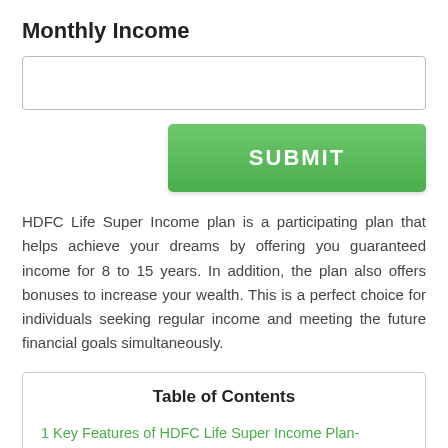Monthly Income
HDFC Life Super Income plan is a participating plan that helps achieve your dreams by offering you guaranteed income for 8 to 15 years. In addition, the plan also offers bonuses to increase your wealth. This is a perfect choice for individuals seeking regular income and meeting the future financial goals simultaneously.
| Table of Contents |
| --- |
| 1 Key Features of HDFC Life Super Income Plan- |
| 2 Eligibility Parameters of HDFC Life Super Income Plan |